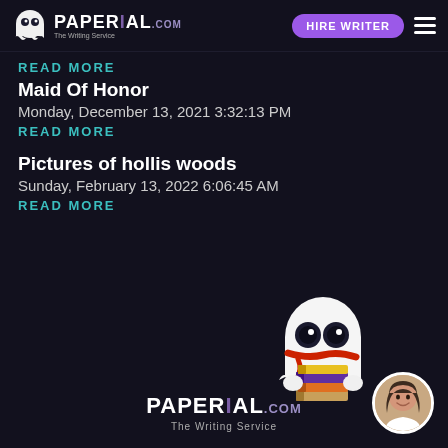PAPERIAL.com — The Writing Service | HIRE WRITER
READ MORE
Maid Of Honor
Monday, December 13, 2021 3:32:13 PM
READ MORE
Pictures of hollis woods
Sunday, February 13, 2022 6:06:45 AM
READ MORE
[Figure (illustration): Ghost mascot cartoon character holding a stack of colorful books, wearing a red scarf, with large round glasses-like eyes]
PAPERIAL.com — The Writing Service